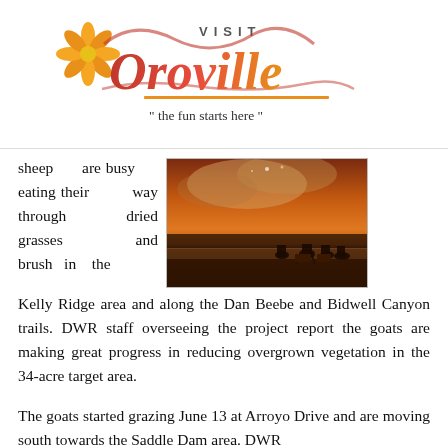[Figure (logo): Visit Oroville logo with cursive orange text and flower, tagline 'the fun starts here']
sheep are busy eating their way through dried grasses and brush in the Kelly Ridge area and along the Dan Beebe and Bidwell Canyon trails. DWR staff overseeing the project report the goats are making great progress in reducing overgrown vegetation in the 34-acre target area.
[Figure (photo): Outdoor event at dusk/night with silhouetted crowd sitting in chairs on a field, orange-red sky with smoke or fireworks in background]
The goats started grazing June 13 at Arroyo Drive and are moving south towards the Saddle Dam area. DWR